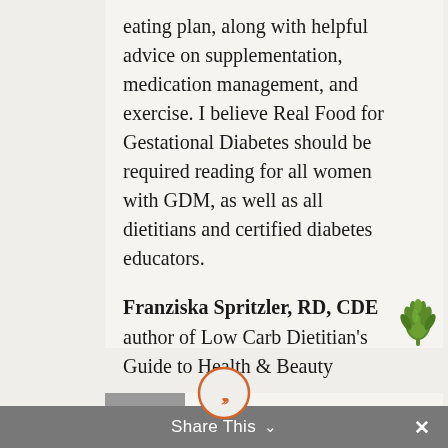eating plan, along with helpful advice on supplementation, medication management, and exercise. I believe Real Food for Gestational Diabetes should be required reading for all women with GDM, as well as all dietitians and certified diabetes educators.
Franziska Spritzler, RD, CDE
author of Low Carb Dietitian's Guide to Health & Beauty
[Figure (illustration): Green artichoke icon/logo in the right margin]
[Figure (illustration): Orange circle with double quotation marks icon]
[Figure (photo): Partial photo of a person at the bottom of the page]
Share This ∨  ×